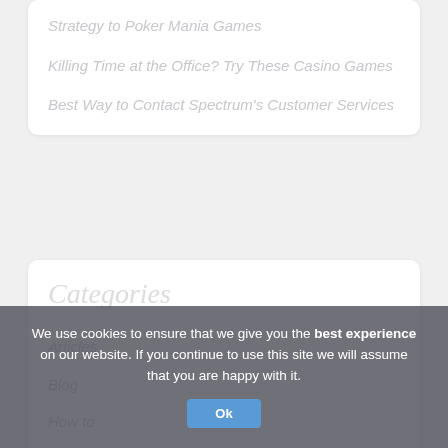Strategy to Poker Mania Games
Killing Time at the Office? Try These Casino Games
Best Way to Contact Spectrum's Customer Services
Categories
Articles
Blog
How to
We use cookies to ensure that we give you the best experience on our website. If you continue to use this site we will assume that you are happy with it.
Ok